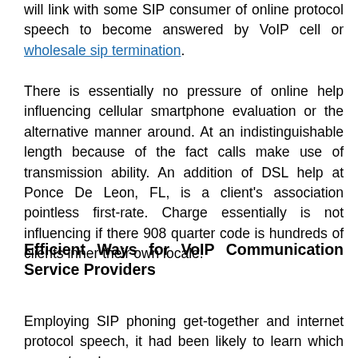will link with some SIP consumer of online protocol speech to become answered by VoIP cell or wholesale sip termination.
There is essentially no pressure of online help influencing cellular smartphone evaluation or the alternative manner around. At an indistinguishable length because of the fact calls make use of transmission ability. An addition of DSL help at Ponce De Leon, FL, is a client's association pointless first-rate. Charge essentially is not influencing if there 908 quarter code is hundreds of clients inner their own locale.
Efficient Ways for VoIP Communication Service Providers
Employing SIP phoning get-together and internet protocol speech, it had been likely to learn which person/employee